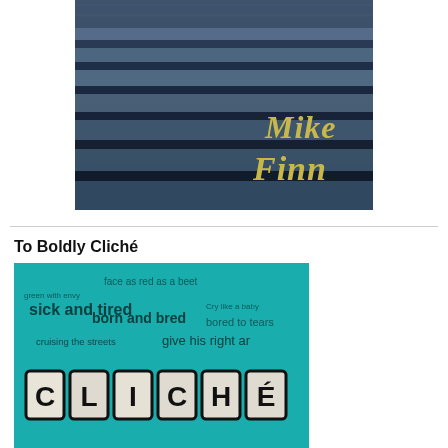[Figure (photo): Blue-tinted photograph of stone stairs viewed from below, with the text 'Mike Finn' overlaid in gold/yellow serif font in the lower right area of the image.]
To Boldly Cliché
[Figure (illustration): Teal/turquoise book cover featuring various clichéd phrases in different fonts scattered across the background ('face as red as a beet', 'green with envy', 'sick and tired', 'born and bred', 'bored to tears', 'Cry like a baby', 'cruising the streets', 'give his right ar[m]'), with large cutout-style letters spelling 'CLICHÉ' at the bottom in bold black outlined tiles.]